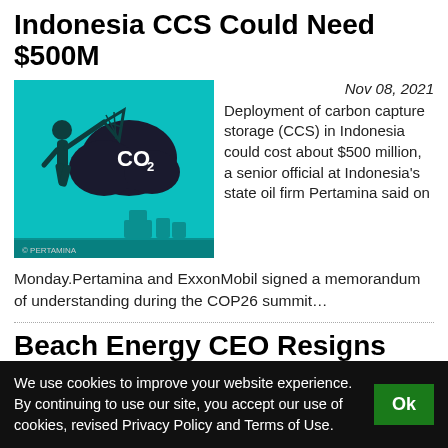Indonesia CCS Could Need $500M
[Figure (illustration): Illustration on teal background showing a silhouette of a person with a net chasing a dark cloud labeled CO2]
Nov 08, 2021
Deployment of carbon capture storage (CCS) in Indonesia could cost about $500 million, a senior official at Indonesia's state oil firm Pertamina said on Monday.Pertamina and ExxonMobil signed a memorandum of understanding during the COP26 summit…
Beach Energy CEO Resigns
[Figure (photo): Photo of a man in a suit with grey background - Matt Kay]
Nov 02, 2021
Matt Kay, the Managing
We use cookies to improve your website experience. By continuing to use our site, you accept our use of cookies, revised Privacy Policy and Terms of Use.